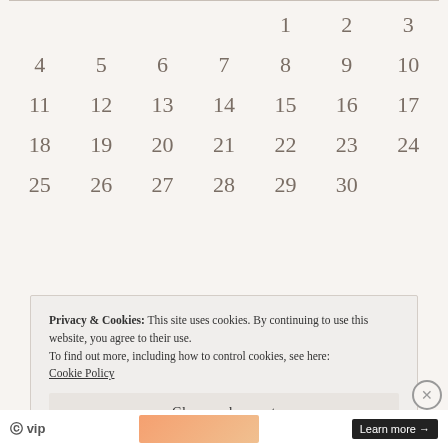| Sun | Mon | Tue | Wed | Thu | Fri | Sat |
| --- | --- | --- | --- | --- | --- | --- |
|  |  |  |  | 1 | 2 | 3 |
| 4 | 5 | 6 | 7 | 8 | 9 | 10 |
| 11 | 12 | 13 | 14 | 15 | 16 | 17 |
| 18 | 19 | 20 | 21 | 22 | 23 | 24 |
| 25 | 26 | 27 | 28 | 29 | 30 |  |
Privacy & Cookies: This site uses cookies. By continuing to use this website, you agree to their use.
To find out more, including how to control cookies, see here: Cookie Policy
Close and accept